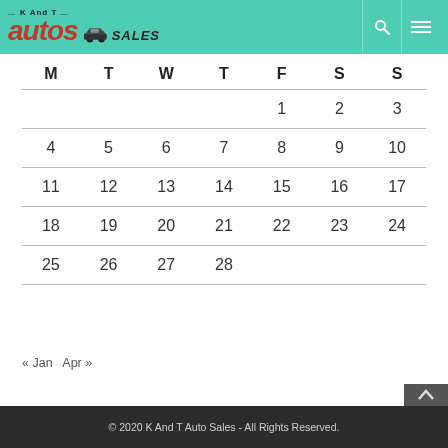K And T Autos Sales
| M | T | W | T | F | S | S |
| --- | --- | --- | --- | --- | --- | --- |
|  |  |  |  | 1 | 2 | 3 |
| 4 | 5 | 6 | 7 | 8 | 9 | 10 |
| 11 | 12 | 13 | 14 | 15 | 16 | 17 |
| 18 | 19 | 20 | 21 | 22 | 23 | 24 |
| 25 | 26 | 27 | 28 |  |  |  |
« Jan   Apr »
© 2020 K And T Auto Sales - All Rights Reserved.